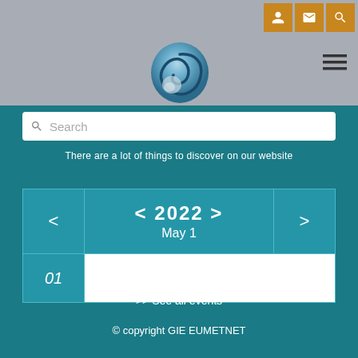[Figure (logo): EUMETNET logo — blue/teal spiral globe icon above the text EUMET in dark gray and NET in orange]
Search
There are a lot of things to discover on our website
| <  2022  > | May 1 |
| 01 |  |
>> See all events
© copyright GIE EUMETNET